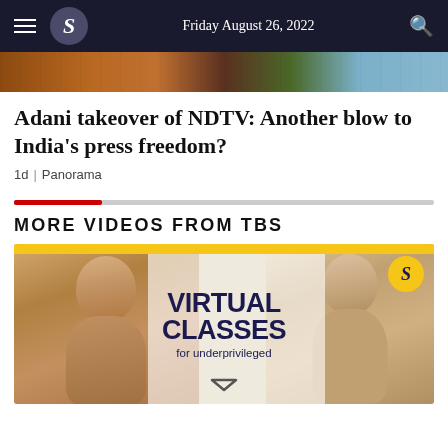Friday August 26, 2022
[Figure (photo): Cropped photo strip at top of article]
Adani takeover of NDTV: Another blow to India's press freedom?
1d | Panorama
MORE VIDEOS FROM TBS
[Figure (photo): Video thumbnail showing two women with text overlay: VIRTUAL CLASSES for underprivileged, with TBS logo]